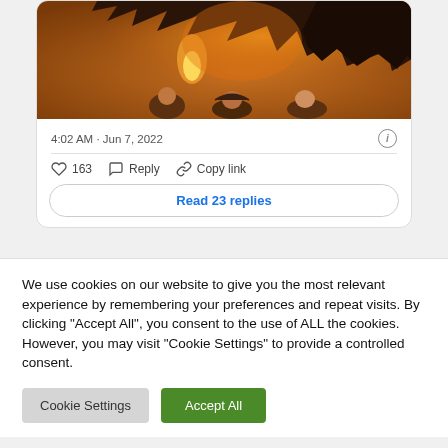[Figure (photo): Movie poster image showing silhouette of a large dinosaur (T-Rex) against an orange/golden background with fire and three human characters visible below]
4:02 AM · Jun 7, 2022
163   Reply   Copy link
Read 23 replies
We use cookies on our website to give you the most relevant experience by remembering your preferences and repeat visits. By clicking "Accept All", you consent to the use of ALL the cookies. However, you may visit "Cookie Settings" to provide a controlled consent.
Cookie Settings
Accept All